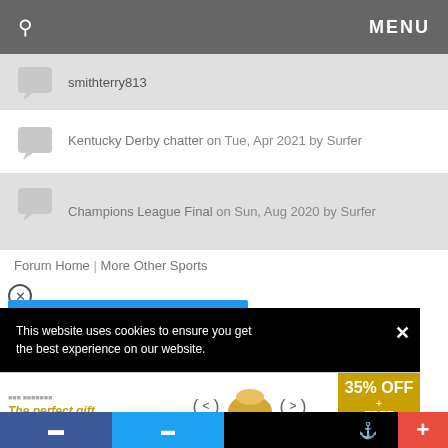MENU
smithterry813
Kentucky Derby chatter on Tue, Apr 2021 by Surfer
Champions League Final on Sun, Aug 2020 by Surfer
Forum Home | More Other Sports
[Figure (screenshot): Cookie consent banner overlay with black background: 'This website uses cookies to ensure you get the best experience on our website.' with close button X]
[Figure (infographic): Advertisement banner: 'The perfect gift' with bowl imagery and '35% OFF + FREE SHIPPING' offer in gold/yellow panel on the right]